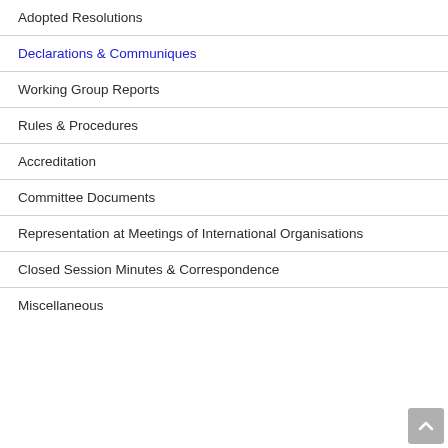Adopted Resolutions
Declarations & Communiques
Working Group Reports
Rules & Procedures
Accreditation
Committee Documents
Representation at Meetings of International Organisations
Closed Session Minutes & Correspondence
Miscellaneous